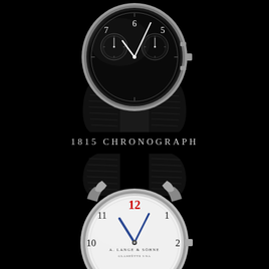[Figure (photo): Top half of an A. Lange & Söhne 1815 Chronograph watch with black dial, white Arabic numerals (5, 6, 7 visible), two sub-dials, white gold case, and black alligator leather strap, photographed from above against a black background.]
1815 CHRONOGRAPH
[Figure (photo): Bottom half of an A. Lange & Söhne 1815 watch with white silvered dial, Arabic numerals (10, 11, 12 in red, 1, 2 visible), A. Lange & Söhne Glashütte i/SA text, blue hands, white gold case, and black alligator leather strap, photographed from below against a black background.]